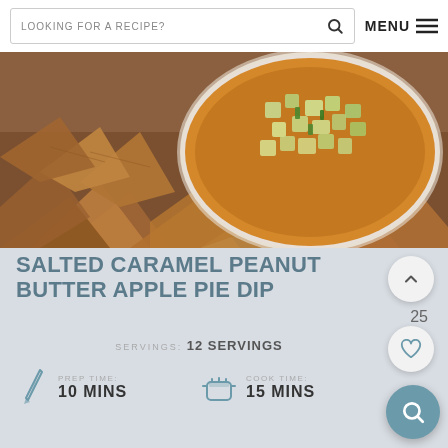LOOKING FOR A RECIPE? MENU
[Figure (photo): Overhead photo of a bowl of caramel dip topped with diced green apple, surrounded by wedge-shaped cinnamon chips on a wooden surface]
SALTED CARAMEL PEANUT BUTTER APPLE PIE DIP
SERVINGS: 12 SERVINGS
PREP TIME: 10 MINS
COOK TIME: 15 MINS